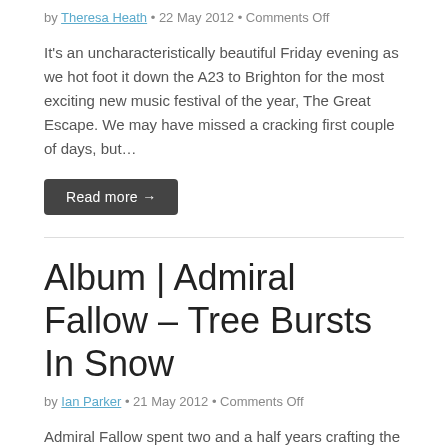by Theresa Heath • 22 May 2012 • Comments Off
It's an uncharacteristically beautiful Friday evening as we hot foot it down the A23 to Brighton for the most exciting new music festival of the year, The Great Escape. We may have missed a cracking first couple of days, but…
Read more →
Album | Admiral Fallow – Tree Bursts In Snow
by Ian Parker • 21 May 2012 • Comments Off
Admiral Fallow spent two and a half years crafting the songs that made up their debut album Boots Met My Face before committing them to the tape, part of a slow-burning process that saw the record released twice before it…